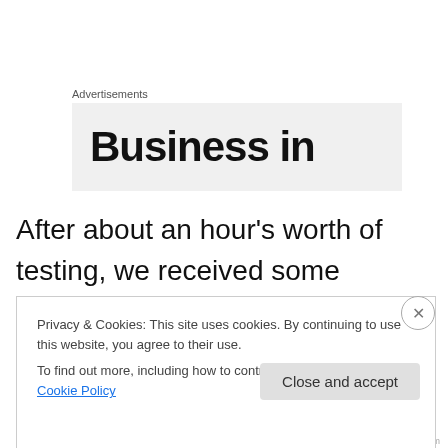Advertisements
[Figure (other): Advertisement banner showing partial text 'Business in' on a light grey background]
After about an hour's worth of testing, we received some interesting news – she didn't see any sign of auditory neuropathy in Alex's left ear.  That was somewhat unbelievable, considering that auditory neuropathy is almost ALWAYS present in both ears.  She explained
Privacy & Cookies: This site uses cookies. By continuing to use this website, you agree to their use.
To find out more, including how to control cookies, see here: Cookie Policy
Close and accept